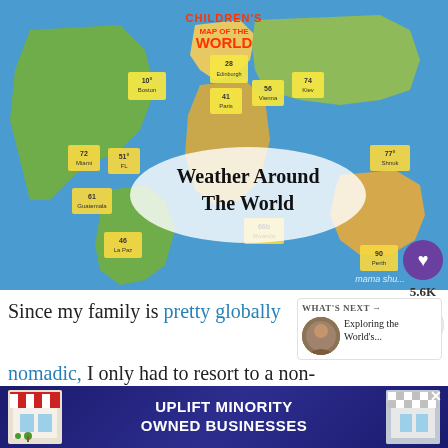[Figure (map): Children's Map of the World with yellow sticky notes showing weather temperatures for various cities around the world. The map is colorful and illustrated. A white cloud-shaped overlay in the center reads 'Weather Around The World' in bold black text.]
Since my family is pretty globally nomadic, I only had to resort to a non-
[Figure (thumbnail): WHAT'S NEXT -> Exploring the World's...]
[Figure (infographic): Ad banner: UPLIFT MINORITY OWNED BUSINESSES]